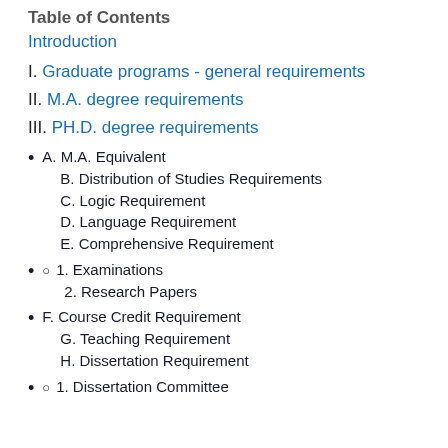Table of Contents
Introduction
I. Graduate programs - general requirements
II. M.A. degree requirements
III. PH.D. degree requirements
A. M.A. Equivalent
B. Distribution of Studies Requirements
C. Logic Requirement
D. Language Requirement
E. Comprehensive Requirement
1. Examinations
2. Research Papers
F. Course Credit Requirement
G. Teaching Requirement
H. Dissertation Requirement
1. Dissertation Committee